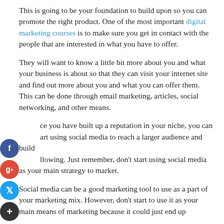This is going to be your foundation to build upon so you can promote the right product. One of the most important digital marketing courses is to make sure you get in contact with the people that are interested in what you have to offer.
They will want to know a little bit more about you and what your business is about so that they can visit your internet site and find out more about you and what you can offer them. This can be done through email marketing, articles, social networking, and other means.
Once you have built up a reputation in your niche, you can start using social media to reach a larger audience and build a following. Just remember, don't start using social media as your main strategy to market.
Social media can be a good marketing tool to use as a part of your marketing mix. However, don't start to use it as your main means of marketing because it could just end up